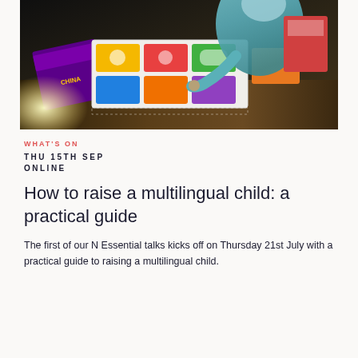[Figure (photo): A baby/toddler in a teal outfit reaching toward colorful picture books and activity boards on a wooden table, dark background]
WHAT'S ON
THU 15TH SEP
ONLINE
How to raise a multilingual child: a practical guide
The first of our N Essential talks kicks off on Thursday 21st July with a practical guide to raising a multilingual child.